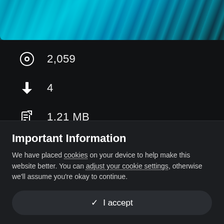[Figure (photo): Dark themed header image with cyan/teal blue flame or water wave texture against dark background]
👁 2,059
⬇ 4
📄 1.21 MB
🕐 June 24, 2020
Important Information
We have placed cookies on your device to help make this website better. You can adjust your cookie settings, otherwise we'll assume you're okay to continue.
✓  I accept